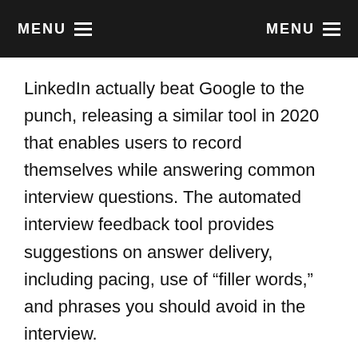MENU  MENU
LinkedIn actually beat Google to the punch, releasing a similar tool in 2020 that enables users to record themselves while answering common interview questions. The automated interview feedback tool provides suggestions on answer delivery, including pacing, use of “filler words,” and phrases you should avoid in the interview.
After you record your answers, you can send the video to LinkedIn connections and ask for feedback. The interview practice tool is